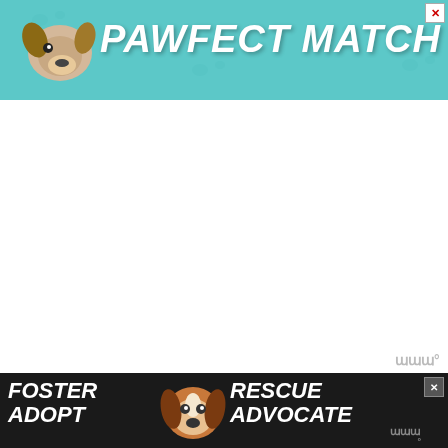[Figure (illustration): PAWFECT MATCH advertisement banner with teal/green background, paw print pattern, dog illustration on left, bold italic white text reading PAWFECT MATCH, and X close button in top right corner]
[Figure (illustration): White blank content area with Wm degree watermark logo in bottom right corner]
Sweetest = Yellow dragon fruit
[Figure (illustration): FOSTER ADOPT RESCUE ADVOCATE dark background advertisement banner with beagle dog photo in center, X close button, and Wm degree watermark logo]